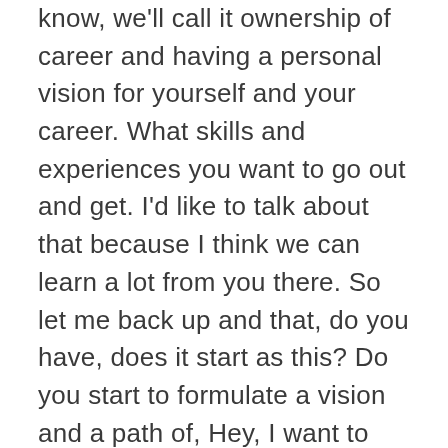know, we'll call it ownership of career and having a personal vision for yourself and your career. What skills and experiences you want to go out and get. I'd like to talk about that because I think we can learn a lot from you there. So let me back up and that, do you have, does it start as this? Do you start to formulate a vision and a path of, Hey, I want to get these skills, these experiences do this, or it's you just come to certain checkpoints and then kind of inherently know, okay. I need to go look elsewhere to get my next step.